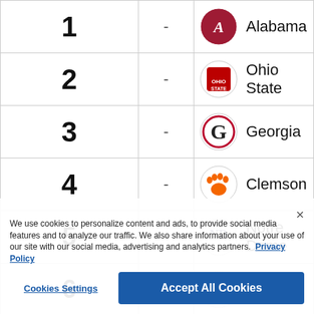| Rank | Change | Team |
| --- | --- | --- |
| 1 | - | Alabama |
| 2 | - | Ohio State |
| 3 | - | Georgia |
| 4 | - | Clemson |
| 5 | - | Notre Dame |
| 6 | - | Texas A&M |
| 7 | - | Utah |
| 8 | - | Michigan |
We use cookies to personalize content and ads, to provide social media features and to analyze our traffic. We also share information about your use of our site with our social media, advertising and analytics partners. Privacy Policy
Cookies Settings | Accept All Cookies